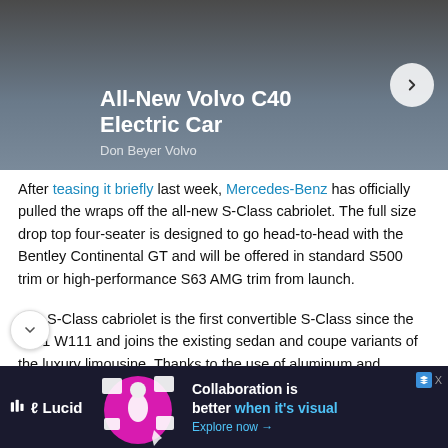[Figure (screenshot): Advertisement banner for All-New Volvo C40 Electric Car by Don Beyer Volvo, showing a dark/grey background with white bold text and a circular arrow button.]
After teasing it briefly last week, Mercedes-Benz has officially pulled the wraps off the all-new S-Class cabriolet. The full size drop top four-seater is designed to go head-to-head with the Bentley Continental GT and will be offered in standard S500 trim or high-performance S63 AMG trim from launch.
The S-Class cabriolet is the first convertible S-Class since the 1971 W111 and joins the existing sedan and coupe variants of the luxury limousine. Thanks to the use of aluminum and magnesium in the trunk lid and other crucial parts of the S-Class cabriolet's construction, it weighs no more than the coupe with which it shares a platform and also boasts a low drag co-efficient for a soft-top car.
[Figure (screenshot): Advertisement banner for Lucid software at the bottom: dark background with pink/magenta circular graphic with a person in the center, white document icons, and text 'Collaboration is better when it's visual' with 'Explore now' link.]